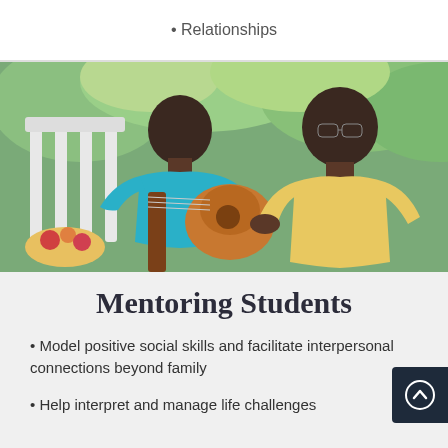• Relationships
[Figure (photo): An adult man wearing glasses and a yellow polo shirt sits outdoors with a young boy in a teal shirt, who is playing an acoustic guitar. They appear to be in a mentoring or teaching scenario, seated near a white garden chair with greenery in the background.]
Mentoring Students
• Model positive social skills and facilitate interpersonal connections beyond family
• Help interpret and manage life challenges